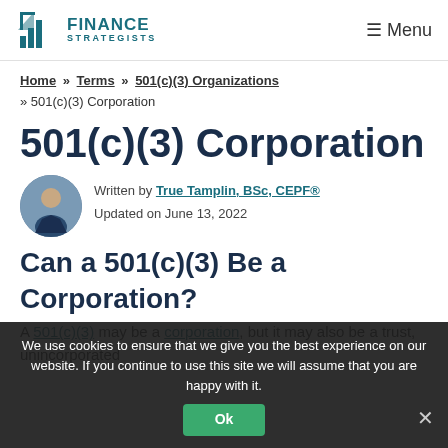Finance Strategists — Menu
Home » Terms » 501(c)(3) Organizations » 501(c)(3) Corporation
501(c)(3) Corporation
Written by True Tamplin, BSc, CEPF® — Updated on June 13, 2022
Can a 501(c)(3) Be a Corporation?
A 501(c)(3) may be a corporation, but it may also be a trust, unincorporated
We use cookies to ensure that we give you the best experience on our website. If you continue to use this site we will assume that you are happy with it. Ok ×